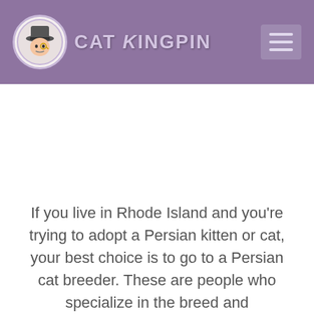CAT KINGPIN
If you live in Rhode Island and you're trying to adopt a Persian kitten or cat, your best choice is to go to a Persian cat breeder. These are people who specialize in the breed and